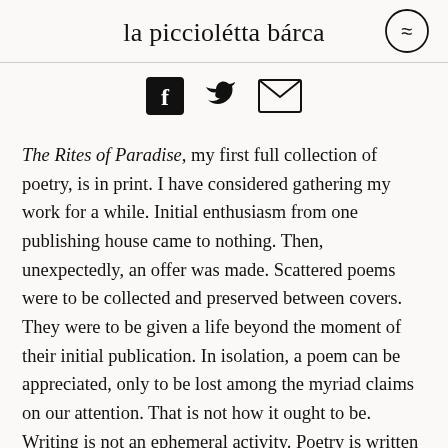la picciolétta bárca
[Figure (other): Social media icons: Facebook, Twitter, Email]
The Rites of Paradise, my first full collection of poetry, is in print. I have considered gathering my work for a while. Initial enthusiasm from one publishing house came to nothing. Then, unexpectedly, an offer was made. Scattered poems were to be collected and preserved between covers. They were to be given a life beyond the moment of their initial publication. In isolation, a poem can be appreciated, only to be lost among the myriad claims on our attention. That is not how it ought to be. Writing is not an ephemeral activity. Poetry is written to be remembered.
Poetry remains in another way, the same experiencing that critics...